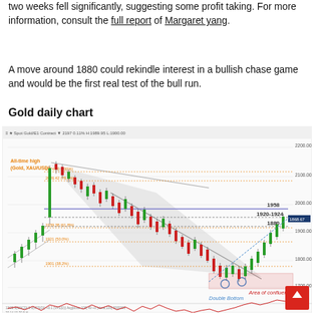two weeks fell significantly, suggesting some profit taking. For more information, consult the full report of Margaret yang.
A move around 1880 could rekindle interest in a bullish chase game and would be the first real test of the bull run.
Gold daily chart
[Figure (continuous-plot): Gold (XAU/USD) daily candlestick chart showing price action with a descending channel (grey shaded area), key resistance levels at 1958, 1920-1924, and 1880, a Double Bottom pattern marked near 1675, and an Area of confluence annotation. All-time high label shown in orange. The chart includes an oscillator subplot at the bottom.]